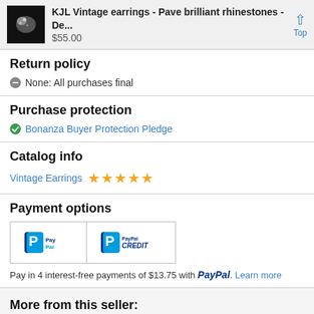KJL Vintage earrings - Pave brilliant rhinestones -De... $55.00
Return policy
None: All purchases final
Purchase protection
Bonanza Buyer Protection Pledge
Catalog info
Vintage Earrings ★★★★★
Payment options
[Figure (logo): PayPal and PayPal Credit payment icons]
Pay in 4 interest-free payments of $13.75 with PayPal. Learn more
More from this seller: